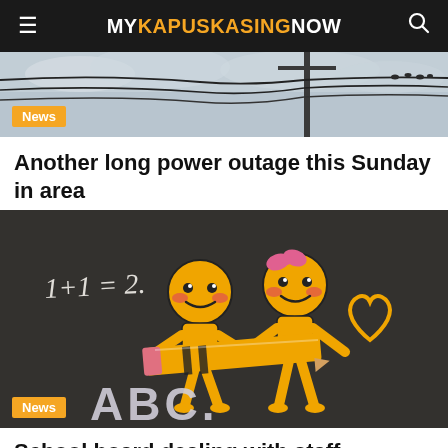MYKAPUSKASINGNOW
[Figure (photo): Partially visible photo of power lines against a cloudy sky with birds, cropped at top]
Another long power outage this Sunday in area
[Figure (photo): Chalkboard illustration with two cartoon stick figure children holding a large pencil, with 1+1=2 written in chalk, a heart outline, and ABC letters at bottom]
School board dealing with staff shortage